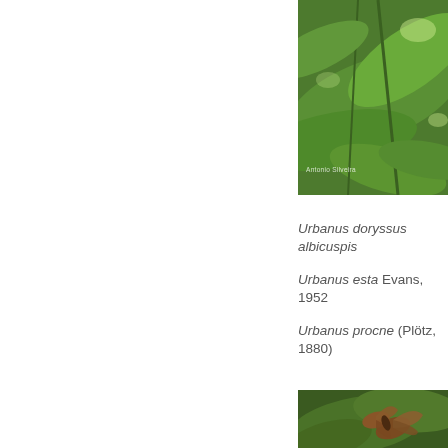[Figure (photo): Close-up photo of green leaves with grass/plant stems, partially cropped. Watermark reads 'Antonio Silveira'.]
Urbanus doryssus albicuspis
Urbanus esta Evans, 1952
Urbanus procne (Plötz, 1880)
[Figure (photo): Photo of a brown skipper butterfly resting on green leaves in a natural setting.]